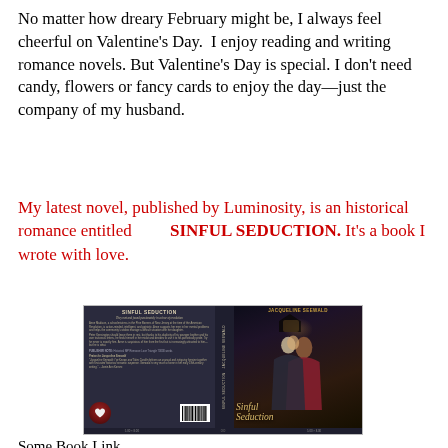No matter how dreary February might be, I always feel cheerful on Valentine's Day.  I enjoy reading and writing romance novels. But Valentine's Day is special. I don't need candy, flowers or fancy cards to enjoy the day—just the company of my husband.
My latest novel, published by Luminosity, is an historical romance entitled         SINFUL SEDUCTION. It's a book I wrote with love.
[Figure (photo): Book cover image of 'Sinful Seduction' by Jacqueline Seewald, published by Luminosity. Shows the front and back covers and spine. Front cover features a man and woman in romantic pose with script title 'Sinful Seduction'. Back cover has descriptive text, a Luminosity logo (red heart), and barcode.]
Some Book Link